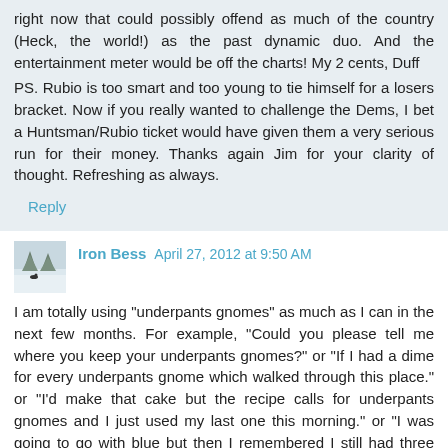right now that could possibly offend as much of the country (Heck, the world!) as the past dynamic duo. And the entertainment meter would be off the charts! My 2 cents, Duff
PS. Rubio is too smart and too young to tie himself for a losers bracket. Now if you really wanted to challenge the Dems, I bet a Huntsman/Rubio ticket would have given them a very serious run for their money. Thanks again Jim for your clarity of thought. Refreshing as always.
Reply
Iron Bess  April 27, 2012 at 9:50 AM
I am totally using "underpants gnomes" as much as I can in the next few months. For example, "Could you please tell me where you keep your underpants gnomes?" or "If I had a dime for every underpants gnome which walked through this place." or "I'd make that cake but the recipe calls for underpants gnomes and I just used my last one this morning." or "I was going to go with blue but then I remembered I still had three gallons of underpants gnomes in the basement."